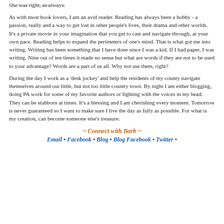She was right, as always.
As with most book lovers, I am an avid reader. Reading has always been a hobby - a passion, really and a way to get lost in other people’s lives, their drama and other worlds. It’s a private movie in your imagination that you get to cast and navigate through, at your own pace. Reading helps to expand the perimeters of one's mind. That is what got me into writing. Writing has been something that I have done since I was a kid. If I had paper, I was writing. Nine out of ten times it made no sense but what are words if they are not to be used to your advantage? Words are a part of us all. Why not use them, right?
During the day I work as a ‘desk jockey’ and help the residents of my county navigate themselves around our little, but not too little country town. By night I am either blogging, doing PA work for some of my favorite authors or fighting with the voices in my head. They can be stubborn at times. It’s a blessing and I am cherishing every moment. Tomorrow is never guaranteed so I want to make sure I live the day as fully as possible. For what is my creation, can become someone else’s treasure.
~ Connect with Barb ~
Email • Facebook • Blog • Blog Facebook • Twitter •